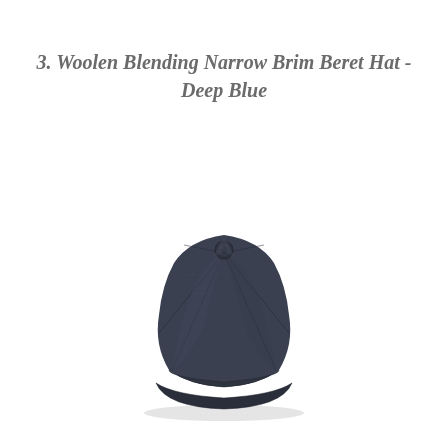3. Woolen Blending Narrow Brim Beret Hat - Deep Blue
[Figure (photo): A deep blue woolen newsboy/beret style hat (8-panel baker boy cap) with a small button on top and a narrow brim, photographed from the front against a white background.]